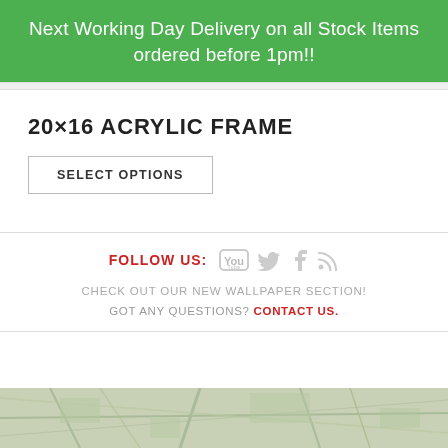Next Working Day Delivery on all Stock Items ordered before 1pm!!
20×16 ACRYLIC FRAME
SELECT OPTIONS
FOLLOW US:
CHECK OUT OUR NEW WALLPAPER SECTION!
GOT ANY QUESTIONS? CONTACT US.
[Figure (photo): Aerial map or satellite view image at the bottom of the page, showing a greenish overhead map with roads visible]